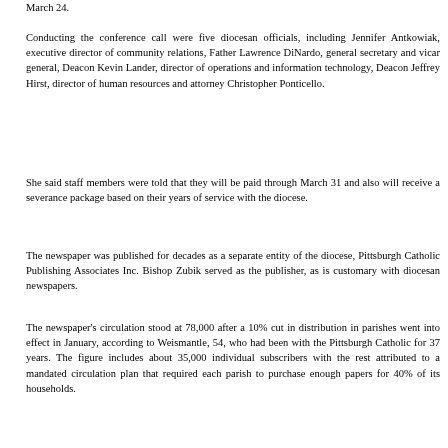March 24.
Conducting the conference call were five diocesan officials, including Jennifer Antkowiak, executive director of community relations, Father Lawrence DiNardo, general secretary and vicar general, Deacon Kevin Lander, director of operations and information technology, Deacon Jeffrey Hirst, director of human resources and attorney Christopher Ponticello.
She said staff members were told that they will be paid through March 31 and also will receive a severance package based on their years of service with the diocese.
The newspaper was published for decades as a separate entity of the diocese, Pittsburgh Catholic Publishing Associates Inc. Bishop Zubik served as the publisher, as is customary with diocesan newspapers.
The newspaper's circulation stood at 78,000 after a 10% cut in distribution in parishes went into effect in January, according to Weismantle, 54, who had been with the Pittsburgh Catholic for 37 years. The figure includes about 35,000 individual subscribers with the rest attributed to a mandated circulation plan that required each parish to purchase enough papers for 40% of its households.